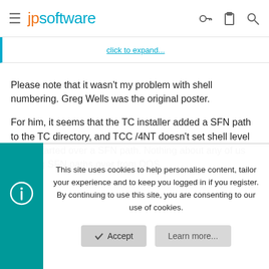jpsoftware
click to expand...
Please note that it wasn't my problem with shell numbering. Greg Wells was the original poster.

For him, it seems that the TC installer added a SFN path to the TC directory, and TCC /4NT doesn't set shell level when started over a SFN path. Nothing about any of us carrying SFN paths over from DOS.
This site uses cookies to help personalise content, tailor your experience and to keep you logged in if you register.
By continuing to use this site, you are consenting to our use of cookies.